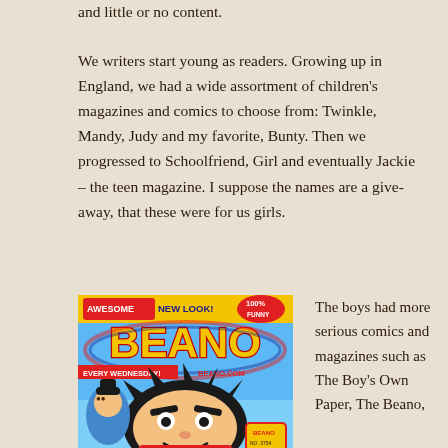and little or no content.
We writers start young as readers. Growing up in England, we had a wide assortment of children's magazines and comics to choose from: Twinkle, Mandy, Judy and my favorite, Bunty. Then we progressed to Schoolfriend, Girl and eventually Jackie – the teen magazine. I suppose the names are a give-away, that these were for us girls.
[Figure (photo): Cover of The Beano comic with 'AWESOME NEW LOOK! 100% FUNNY' banner, featuring Dennis the Menace character and other characters, advertised as 'EVERY WEDNESDAY' at BEANO.COM]
The boys had more serious comics and magazines such as The Boy's Own Paper, The Beano,